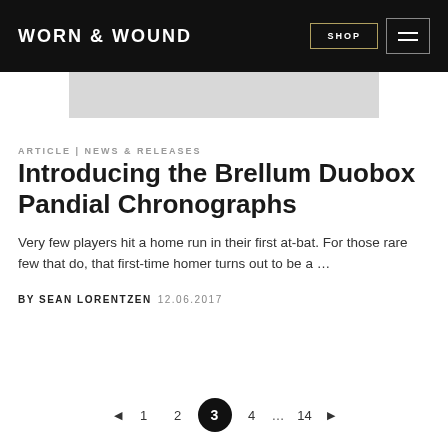WORN & WOUND — SHOP | Menu
[Figure (photo): Gray image placeholder banner]
ARTICLE | NEWS & RELEASES
Introducing the Brellum Duobox Pandial Chronographs
Very few players hit a home run in their first at-bat. For those rare few that do, that first-time homer turns out to be a …
BY SEAN LORENTZEN 12.06.2017
◄ 1 2 3 4 … 14 ►